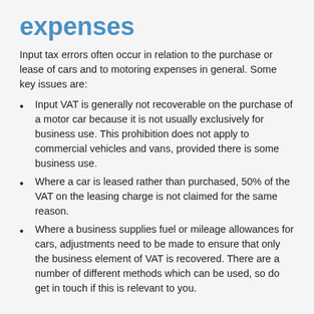expenses
Input tax errors often occur in relation to the purchase or lease of cars and to motoring expenses in general. Some key issues are:
Input VAT is generally not recoverable on the purchase of a motor car because it is not usually exclusively for business use. This prohibition does not apply to commercial vehicles and vans, provided there is some business use.
Where a car is leased rather than purchased, 50% of the VAT on the leasing charge is not claimed for the same reason.
Where a business supplies fuel or mileage allowances for cars, adjustments need to be made to ensure that only the business element of VAT is recovered. There are a number of different methods which can be used, so do get in touch if this is relevant to you.